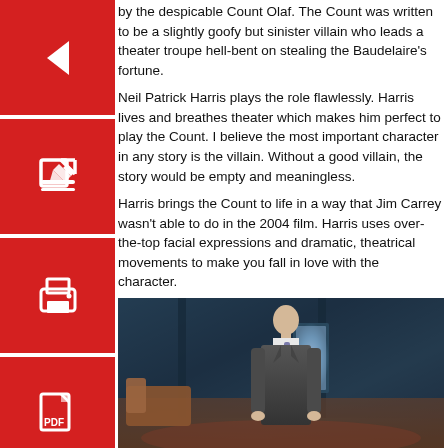by the despicable Count Olaf. The Count was written to be a slightly goofy but sinister villain who leads a theater troupe hell-bent on stealing the Baudelaire’s fortune.
Neil Patrick Harris plays the role flawlessly. Harris lives and breathes theater which makes him perfect to play the Count. I believe the most important character in any story is the villain. Without a good villain, the story would be empty and meaningless.
Harris brings the Count to life in a way that Jim Carrey wasn’t able to do in the 2004 film. Harris uses over-the-top facial expressions and dramatic, theatrical movements to make you fall in love with the character.
[Figure (photo): A man in a dark suit standing in a dimly lit, ornate room with vintage furniture, a doorway with blue light, and dark teal walls — likely Neil Patrick Harris as Count Olaf from a TV show setting.]